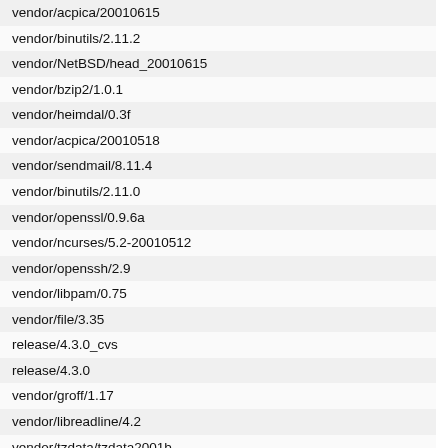vendor/acpica/20010615
vendor/binutils/2.11.2
vendor/NetBSD/head_20010615
vendor/bzip2/1.0.1
vendor/heimdal/0.3f
vendor/acpica/20010518
vendor/sendmail/8.11.4
vendor/binutils/2.11.0
vendor/openssl/0.9.6a
vendor/ncurses/5.2-20010512
vendor/openssh/2.9
vendor/libpam/0.75
vendor/file/3.35
release/4.3.0_cvs
release/4.3.0
vendor/groff/1.17
vendor/libreadline/4.2
vendor/tzdata/tzdata2001b
vendor/tcpdump/3.6.2
vendor/libpcap/0.6.2
vendor/ee/1.4.1
vendor/file/3.34
vendor/gcc/2.95.3-with_sjlj_fix
vendor/gcc/2.95.3
vendor/opie/2.32.2001.03.04